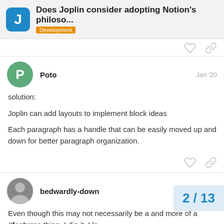Does Joplin consider adopting Notion's philoso... | Development
solution:

Joplin can add layouts to implement block ideas

Each paragraph has a handle that can be easily moved up and down for better paragraph organization.
bedwardly-down — Jan '20

Even though this may not necessarily be a and more of a #features thing, I dig it. I lo
2 / 13